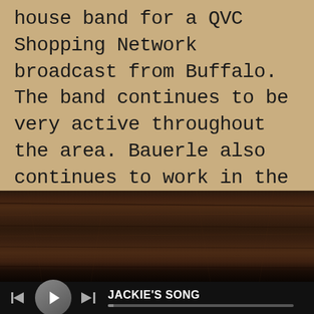house band for a QVC Shopping Network broadcast from Buffalo. The band continues to be very active throughout the area. Bauerle also continues to work in the studio- and having completed many recent projects for other musicians, looks forward to focusing mainly on his own career again in the years ahead
[Figure (photo): Dark wooden panel/shelf surface, dark brown wood grain texture]
[Figure (screenshot): Media player control bar with rewind, play, fast-forward buttons and song title JACKIE'S SONG with progress bar]